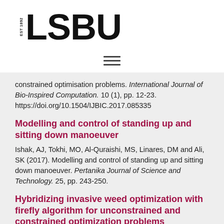[Figure (logo): LSBU logo with EST 1892 text and bold LSBU wordmark]
[Figure (other): Hamburger menu icon with three horizontal lines]
constrained optimisation problems. International Journal of Bio-Inspired Computation. 10 (1), pp. 12-23. https://doi.org/10.1504/IJBIC.2017.085335
Modelling and control of standing up and sitting down manoeuver
Ishak, AJ, Tokhi, MO, Al-Quraishi, MS, Linares, DM and Ali, SK (2017). Modelling and control of standing up and sitting down manoeuver. Pertanika Journal of Science and Technology. 25, pp. 243-250.
Hybridizing invasive weed optimization with firefly algorithm for unconstrained and constrained optimization problems